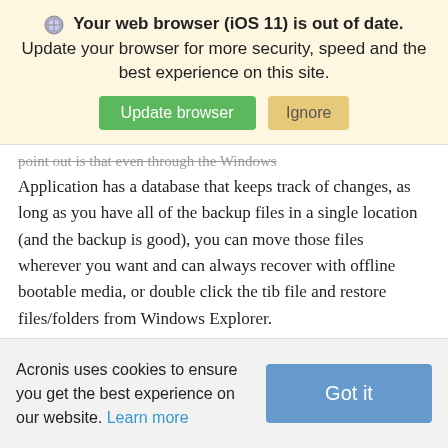Your web browser (iOS 11) is out of date. Update your browser for more security, speed and the best experience on this site.
point out is that even through the Windows Application has a database that keeps track of changes, as long as you have all of the backup files in a single location (and the backup is good), you can move those files wherever you want and can always recover with offline bootable media, or double click the tib file and restore files/folders from Windows Explorer.
| Attachment | Size |
| --- | --- |
Acronis uses cookies to ensure you get the best experience on our website. Learn more